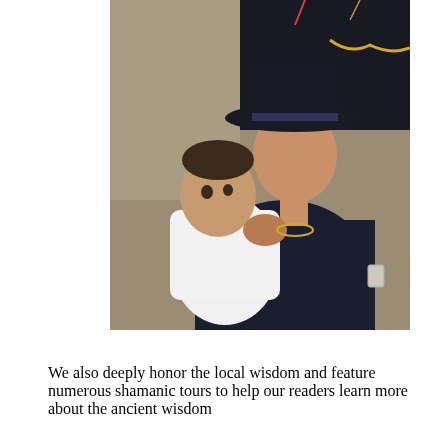[Figure (photo): A young man wearing a dark wide-brimmed hat and dark navy jacket holds a baby dressed in white. The man has short dark hair, a small earring, and a gold necklace. The baby has dark hair and is looking slightly to the side with fingers near mouth. The background shows an interior room with walls and ceiling.]
We also deeply honor the local wisdom and feature numerous shamanic tours to help our readers learn more about the ancient wisdom